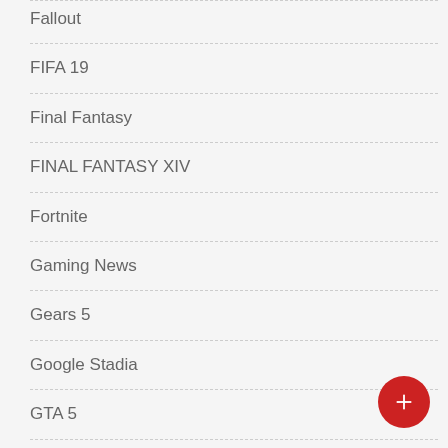Fallout
FIFA 19
Final Fantasy
FINAL FANTASY XIV
Fortnite
Gaming News
Gears 5
Google Stadia
GTA 5
Halo Infinite
Halo Reach
Hearthstone